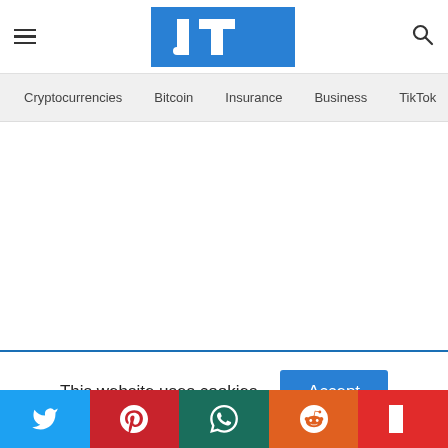[Figure (logo): JT logo in white serif letters on blue background, with hamburger menu icon on left and search icon on right]
Cryptocurrencies | Bitcoin | Insurance | Business | TikTok
This website uses cookies.
Twitter | Pinterest | WhatsApp | Reddit | Flipboard social share buttons